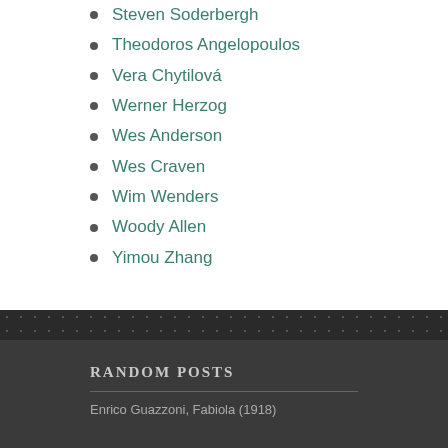Steven Soderbergh
Theodoros Angelopoulos
Vera Chytilová
Werner Herzog
Wes Anderson
Wes Craven
Wim Wenders
Woody Allen
Yimou Zhang
RANDOM POSTS
Enrico Guazzoni, Fabiola (1918)